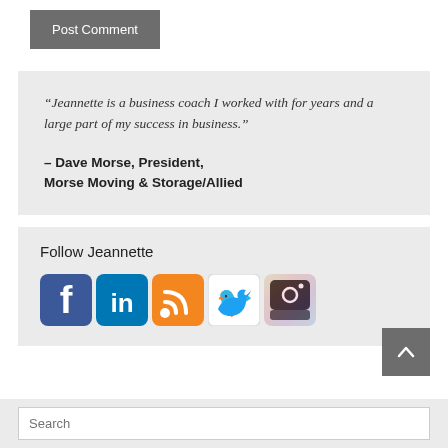Post Comment
“Jeannette is a business coach I worked with for years and a large part of my success in business.”
– Dave Morse, President, Morse Moving & Storage/Allied
Follow Jeannette
[Figure (infographic): Row of social media icons: Facebook, LinkedIn, RSS feed, Twitter, Instagram]
Search